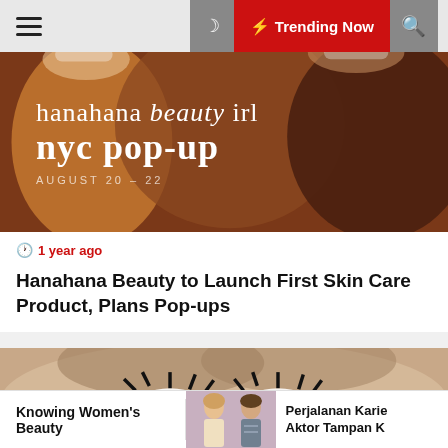Navigation bar with hamburger menu, moon/dark mode icon, Trending Now button, and search icon
[Figure (photo): Hanahana Beauty NYC pop-up promotional banner with text 'hanahana beauty irl nyc pop-up' over a photo of smiling diverse women]
1 year ago
Hanahana Beauty to Launch First Skin Care Product, Plans Pop-ups
[Figure (photo): Close-up photo of a woman's face with striking eye makeup and mascara]
Knowing Women's Beauty
[Figure (photo): Photo of a young woman and man, used as thumbnail for related article]
Perjalanan Karie Aktor Tampan K